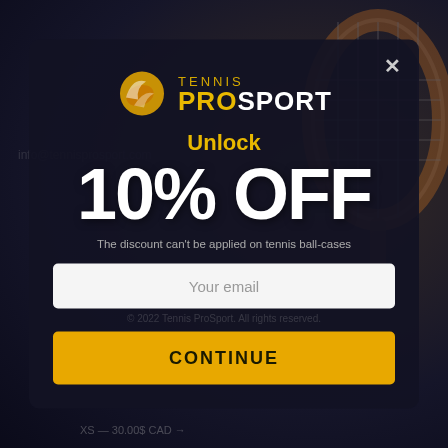[Figure (screenshot): Tennis ProSport promotional popup modal with dark blurred background showing a tennis player and racket. Modal offers 10% OFF discount with email signup and CONTINUE button.]
TENNIS PROSPORT
Unlock
10% OFF
The discount can't be applied on tennis ball-cases
Your email
CONTINUE